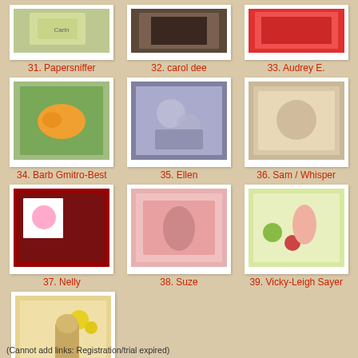[Figure (photo): Thumbnail image for entry 31 (Papersniffer)]
31. Papersniffer
[Figure (photo): Thumbnail image for entry 32 (carol dee)]
32. carol dee
[Figure (photo): Thumbnail image for entry 33 (Audrey E.)]
33. Audrey E.
[Figure (photo): Thumbnail image for entry 34 (Barb Gmitro-Best)]
34. Barb Gmitro-Best
[Figure (photo): Thumbnail image for entry 35 (Ellen)]
35. Ellen
[Figure (photo): Thumbnail image for entry 36 (Sam / Whisper)]
36. Sam / Whisper
[Figure (photo): Thumbnail image for entry 37 (Nelly)]
37. Nelly
[Figure (photo): Thumbnail image for entry 38 (Suze)]
38. Suze
[Figure (photo): Thumbnail image for entry 39 (Vicky-Leigh Sayer)]
39. Vicky-Leigh Sayer
[Figure (photo): Thumbnail image for entry 40 (Marie)]
40. Marie
(Cannot add links: Registration/trial expired)